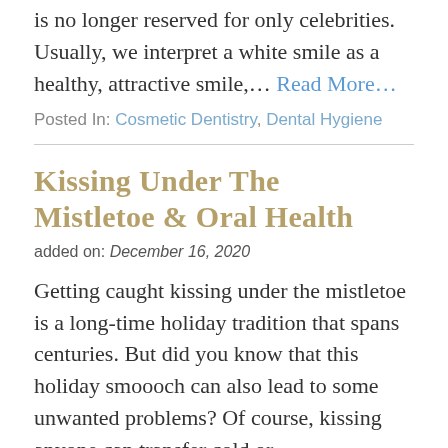is no longer reserved for only celebrities. Usually, we interpret a white smile as a healthy, attractive smile,… Read More…
Posted In: Cosmetic Dentistry, Dental Hygiene
Kissing Under The Mistletoe & Oral Health
added on: December 16, 2020
Getting caught kissing under the mistletoe is a long-time holiday tradition that spans centuries. But did you know that this holiday smoooch can also lead to some unwanted problems? Of course, kissing anyone can transfer cold or